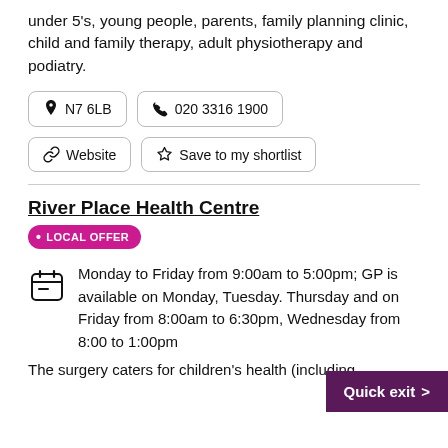under 5's, young people, parents, family planning clinic, child and family therapy, adult physiotherapy and podiatry.
N7 6LB
020 3316 1900
Website
Save to my shortlist
River Place Health Centre
LOCAL OFFER
Monday to Friday from 9:00am to 5:00pm; GP is available on Monday, Tuesday. Thursday and on Friday from 8:00am to 6:30pm, Wednesday from 8:00 to 1:00pm
Quick exit >